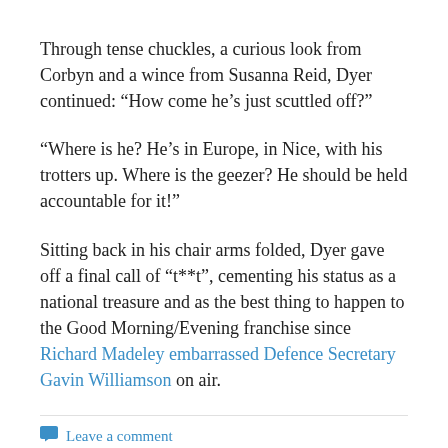Through tense chuckles, a curious look from Corbyn and a wince from Susanna Reid, Dyer continued: “How come he’s just scuttled off?”
“Where is he? He’s in Europe, in Nice, with his trotters up. Where is the geezer? He should be held accountable for it!”
Sitting back in his chair arms folded, Dyer gave off a final call of “t**t”, cementing his status as a national treasure and as the best thing to happen to the Good Morning/Evening franchise since Richard Madeley embarrassed Defence Secretary Gavin Williamson on air.
Leave a comment